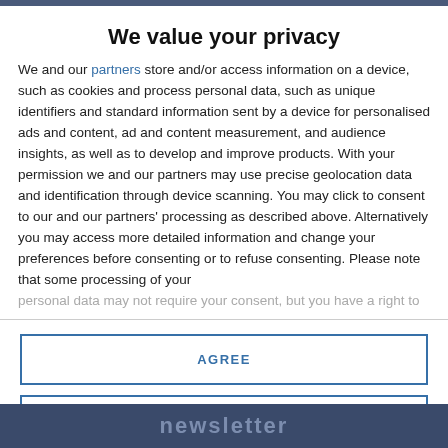We value your privacy
We and our partners store and/or access information on a device, such as cookies and process personal data, such as unique identifiers and standard information sent by a device for personalised ads and content, ad and content measurement, and audience insights, as well as to develop and improve products. With your permission we and our partners may use precise geolocation data and identification through device scanning. You may click to consent to our and our partners' processing as described above. Alternatively you may access more detailed information and change your preferences before consenting or to refuse consenting. Please note that some processing of your personal data may not require your consent, but you have a right to
AGREE
MORE OPTIONS
newsletter